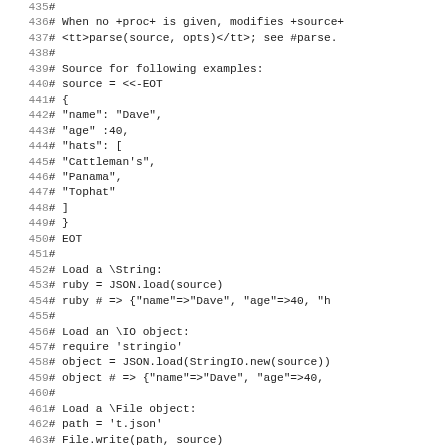Code listing lines 435–465, Ruby/JSON documentation comments
435: #
436: # When no +proc+ is given, modifies +source+
437: # <tt>parse(source, opts)</tt>;  see #parse.
438: #
439: # Source for following examples:
440: #   source = <<-EOT
441: #   {
442: #   "name": "Dave",
443: #     "age" :40,
444: #     "hats": [
445: #       "Cattleman's",
446: #       "Panama",
447: #       "Tophat"
448: #     ]
449: #   }
450: #   EOT
451: #
452: # Load a \String:
453: #   ruby = JSON.load(source)
454: #   ruby # => {"name"=>"Dave", "age"=>40, "h
455: #
456: # Load an \IO object:
457: #   require 'stringio'
458: #   object = JSON.load(StringIO.new(source))
459: #   object # => {"name"=>"Dave", "age"=>40,
460: #
461: # Load a \File object:
462: #   path = 't.json'
463: #   File.write(path, source)
464: #   File.open(path) do |file|
465: #     JSON.load(file)